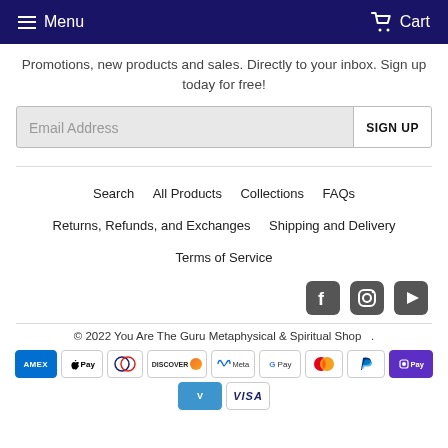Menu   Cart
Promotions, new products and sales. Directly to your inbox. Sign up today for free!
Email Address  SIGN UP
Search   All Products   Collections   FAQs   Returns, Refunds, and Exchanges   Shipping and Delivery   Terms of Service
[Figure (infographic): Social media icons: Facebook, Instagram, YouTube]
© 2022 You Are The Guru Metaphysical & Spiritual Shop
[Figure (infographic): Payment method icons: Amex, Apple Pay, Diners, Discover, Meta, Google Pay, Mastercard, PayPal, Shop Pay, Venmo, Visa]